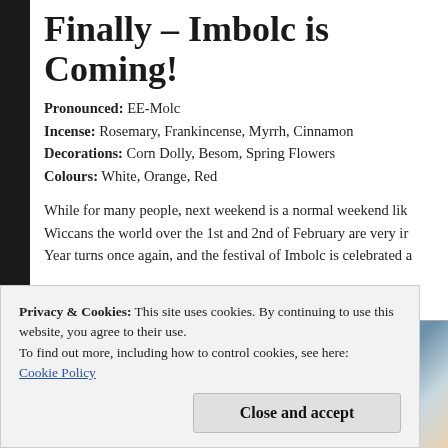Finally – Imbolc is Coming!
Pronounced: EE-Molc
Incense: Rosemary, Frankincense, Myrrh, Cinnamon
Decorations: Corn Dolly, Besom, Spring Flowers
Colours: White, Orange, Red
While for many people, next weekend is a normal weekend like any other, for Wiccans the world over the 1st and 2nd of February are very important. The Year turns once again, and the festival of Imbolc is celebrated a...
[Figure (photo): Winter forest or nature scene with blue-grey tones, appears to show trees in snow or frost]
Privacy & Cookies: This site uses cookies. By continuing to use this website, you agree to their use.
To find out more, including how to control cookies, see here:
Cookie Policy
Close and accept